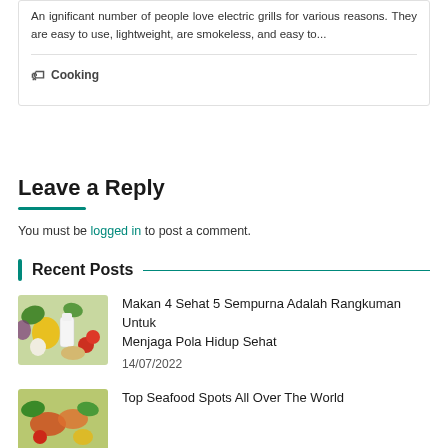An ignificant number of people love electric grills for various reasons. They are easy to use, lightweight, are smokeless, and easy to...
Cooking
Leave a Reply
You must be logged in to post a comment.
Recent Posts
[Figure (photo): Photo of fresh vegetables and dairy products including peppers, milk, garlic, and grains]
Makan 4 Sehat 5 Sempurna Adalah Rangkuman Untuk Menjaga Pola Hidup Sehat
14/07/2022
[Figure (photo): Photo of seafood and vegetables]
Top Seafood Spots All Over The World